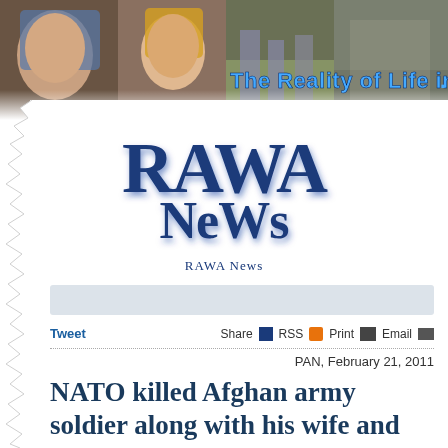[Figure (photo): Header photo strip showing Afghan people including women in headscarves, a protest scene, and people on streets. Overlaid text reads 'The Reality of Life in .']
[Figure (logo): RAWA News logo in dark blue serif font with shadow effect, followed by subtitle text 'RAWA News']
Tweet   Share  RSS  Print  Email
PAN, February 21, 2011
NATO killed Afghan army soldier along with his wife and four children